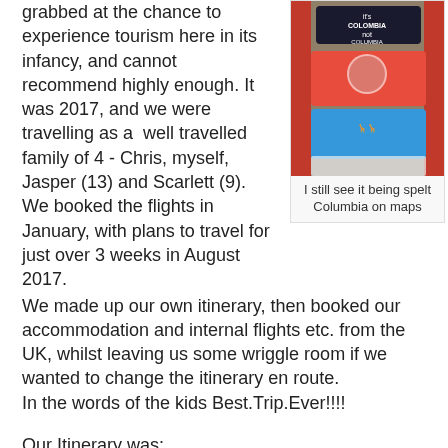grabbed at the chance to experience tourism here in its infancy, and cannot recommend highly enough. It was 2017, and we were travelling as a well travelled family of 4 - Chris, myself, Jasper (13) and Scarlett (9). We booked the flights in January, with plans to travel for just over 3 weeks in August 2017.
[Figure (photo): Photo of colorful souvenir t-shirts hanging in a shop, including one that reads 'It's Colombia not Columbia' in red, blue and black colors.]
I still see it being spelt Columbia on maps
We made up our own itinerary, then booked our accommodation and internal flights etc. from the UK, whilst leaving us some wriggle room if we wanted to change the itinerary en route.
In the words of the kids Best.Trip.Ever!!!!
Our Itinerary was:
Bogota, bus to
Chiquiza
Villa De Leyva, ancient sites and Terracotta House
Pereira, coffee country, how could you not!, bus to